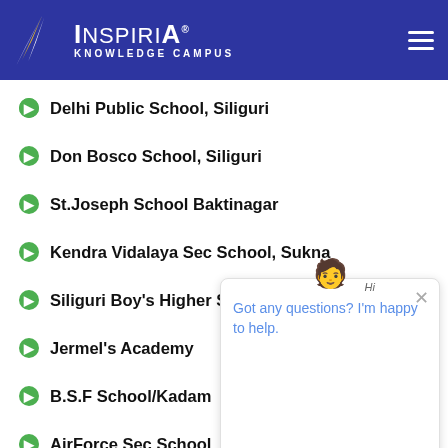[Figure (logo): Inspiria Knowledge Campus logo with blue background, white wing icon, brand name INSPIRIA in white bold text, and tagline KNOWLEDGE CAMPUS]
Delhi Public School, Siliguri
Don Bosco School, Siliguri
St.Joseph School Baktinagar
Kendra Vidalaya Sec School, Sukna
Siliguri Boy's Higher Sec School
Jermel's Academy
B.S.F School/Kadam
AirForce Sec School
Woodridge International School
Siliguri Model Higher Sec School
Alipurduar Newtown Girls Higher Sec School
[Figure (screenshot): Chat popup widget with avatar, 'Hi' label, close button, and message: Got any questions? I'm happy to help.]